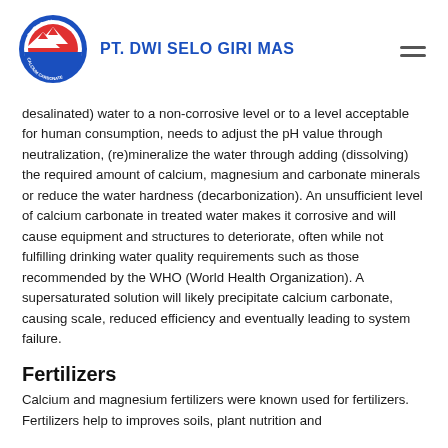[Figure (logo): DSGM Calcium Carbonate circular logo with mountain graphic and PT. DWI SELO GIRI MAS company name]
desalinated) water to a non-corrosive level or to a level acceptable for human consumption, needs to adjust the pH value through neutralization, (re)mineralize the water through adding (dissolving) the required amount of calcium, magnesium and carbonate minerals or reduce the water hardness (decarbonization). An unsufficient level of calcium carbonate in treated water makes it corrosive and will cause equipment and structures to deteriorate, often while not fulfilling drinking water quality requirements such as those recommended by the WHO (World Health Organization). A supersaturated solution will likely precipitate calcium carbonate, causing scale, reduced efficiency and eventually leading to system failure.
Fertilizers
Calcium and magnesium fertilizers were known used for fertilizers. Fertilizers help to improves soils, plant nutrition and